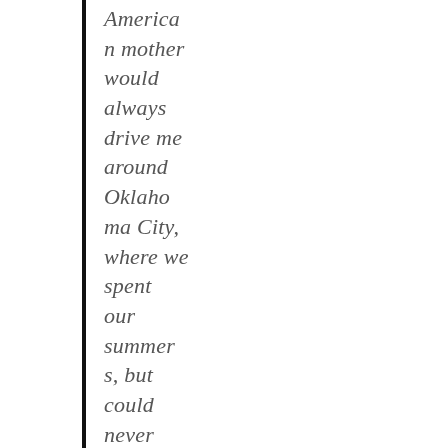American mother would always drive me around Oklahoma City, where we spent our summers, but could never take me